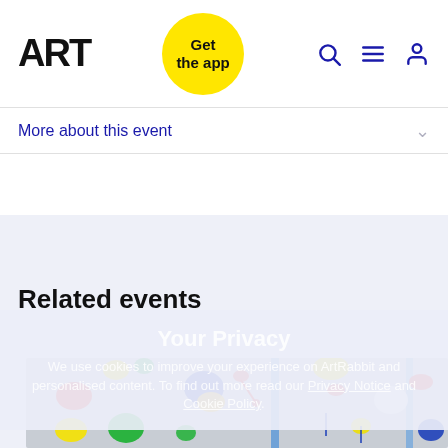ART | Get the app
More about this event
Added by
Your Privacy
We use cookies to improve your experience on ArtRabbit and personalised content. To find out more read our Privacy Notice and Cookie Policy.
Related events
[Figure (photo): Abstract artwork with colorful paint splashes (red, blue, yellow, green) on a light grey background, shown as a related event image.]